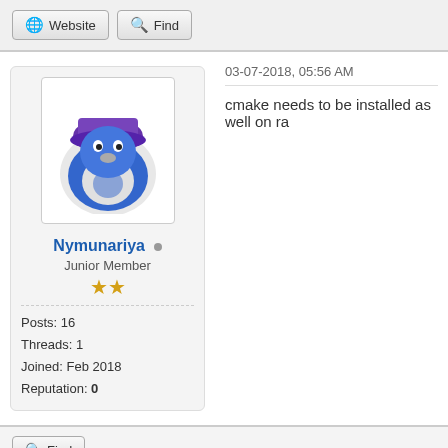Website | Find
[Figure (illustration): Blue penguin-like avatar with purple hat for user Nymunariya]
Nymunariya (Junior Member, 2 stars)
Posts: 16
Threads: 1
Joined: Feb 2018
Reputation: 0
03-07-2018, 05:56 AM
cmake needs to be installed as well on ra
Find
03-07-2018, 05:59 AM (This post was last modified: 03
[Figure (illustration): Blue penguin-like avatar with purple hat (second post)]
Code:
pi@freeplay:~/Freeplay $ cd rpi